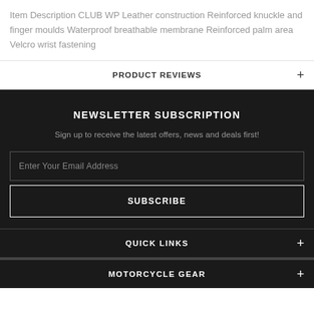Item Description CLUB WP Leather construction Reinforced knuckle and finger moulds Waterproof breathable membrane Reinforced palm area Velcro wrist fastening
PRODUCT REVIEWS
NEWSLETTER SUBSCRIPTION
Sign up to receive the latest offers, news and deals first!
Enter Your Email Address
SUBSCRIBE
QUICK LINKS
MOTORCYCLE GEAR